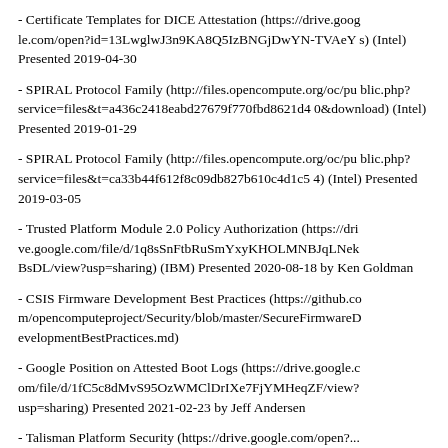- Certificate Templates for DICE Attestation (https://drive.google.com/open?id=13LwglwJ3n9KA8Q5IzBNGjDwYN-TVAeYs) (Intel) Presented 2019-04-30
- SPIRAL Protocol Family (http://files.opencompute.org/oc/public.php?service=files&t=a436c2418eabd27679f770fbd8621d40&download) (Intel) Presented 2019-01-29
- SPIRAL Protocol Family (http://files.opencompute.org/oc/public.php?service=files&t=ca33b44f612f8c09db827b610c4d1c54) (Intel) Presented 2019-03-05
- Trusted Platform Module 2.0 Policy Authorization (https://drive.google.com/file/d/1q8sSnFtbRuSmYxyKHOLMNBJqLNekBsDL/view?usp=sharing) (IBM) Presented 2020-08-18 by Ken Goldman
- CSIS Firmware Development Best Practices (https://github.com/opencomputeproject/Security/blob/master/SecureFirmwareDevelopmentBestPractices.md)
- Google Position on Attested Boot Logs (https://drive.google.com/file/d/1fC5c8dMvS95OzWMClDrIXe7FjYMHeqZF/view?usp=sharing) Presented 2021-02-23 by Jeff Andersen
- Talisman Platform Security (https://drive.google.com/open?...